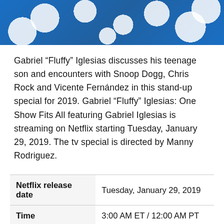[Figure (photo): Person wearing a blue Hawaiian shirt with white floral print, partial view cropped at the top of the page]
Gabriel “Fluffy” Iglesias discusses his teenage son and encounters with Snoop Dogg, Chris Rock and Vicente Fernández in this stand-up special for 2019. Gabriel “Fluffy” Iglesias: One Show Fits All featuring Gabriel Iglesias is streaming on Netflix starting Tuesday, January 29, 2019. The tv special is directed by Manny Rodriguez.
| Netflix release date | Tuesday, January 29, 2019 |
| Time | 3:00 AM ET / 12:00 AM PT |
| Stream | Netflix |
| Starring | Gabriel Iglesias |
| Genre | Comedy |